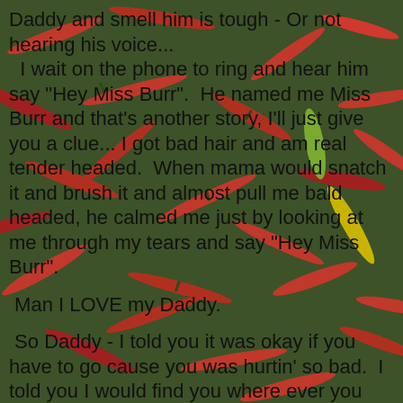[Figure (photo): Background photo of red and green chili peppers scattered together]
Daddy and smell him is tough - Or not hearing his voice...  I wait on the phone to ring and hear him say "Hey Miss Burr".  He named me Miss Burr and that's another story, I'll just give you a clue... I got bad hair and am real tender headed.  When mama would snatch it and brush it and almost pull me bald headed, he calmed me just by looking at me through my tears and say "Hey Miss Burr".

Man I LOVE my Daddy.

 So Daddy - I told you it was okay if you have to go cause you was hurtin' so bad.  I told you I would find you where ever you are, and I will do that.  Just as soon as I get there I'm lookin' for you .  I can't wait to see you again and hug and smell you and hear your voice.  I know just what you are gonna say....
 "Hey Miss Burr!!"  Oh Happy Day!